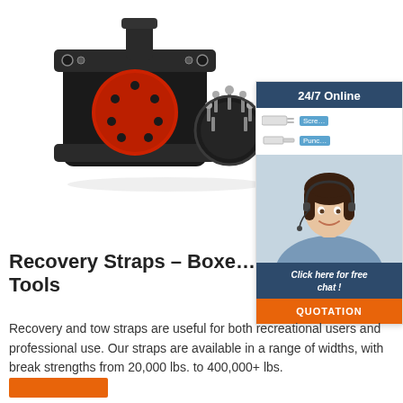[Figure (photo): Black electrical/trailer connector components: a large circular connector with red face and mounting flanges, and a smaller pin connector component, shown on white background]
[Figure (infographic): 24/7 Online chat widget sidebar showing tool icons with blue labels (Screwdriver, Punch), a smiling female customer service agent wearing a headset, dark navy header with '24/7 Online', italic footer 'Click here for free chat!', and orange QUOTATION button]
Recovery Straps – Boxe… Tools
Recovery and tow straps are useful for both recreational users and professional use. Our straps are available in a range of widths, with break strengths from 20,000 lbs. to 400,000+ lbs.